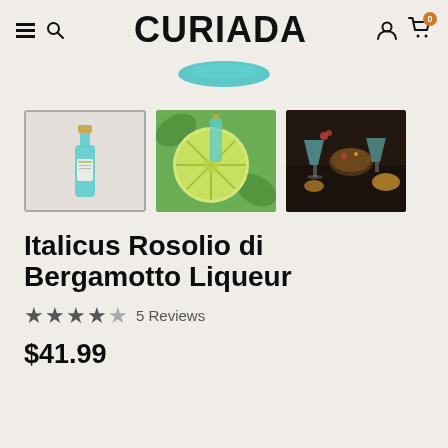CURIADA
[Figure (photo): Product thumbnail 1: Italicus bottle on light background (selected)]
[Figure (photo): Product thumbnail 2: Italicus bottle beside a sliced bergamot/lime fruit]
[Figure (photo): Product thumbnail 3: Cocktail and food styling with Italicus bottle]
Italicus Rosolio di Bergamotto Liqueur
★★★★★ 5 Reviews
$41.99